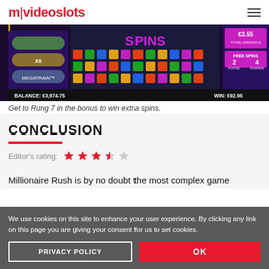m|videoslots
[Figure (screenshot): Screenshot of a slot game showing colorful jewels on reels, SPINS text, balance €3,974.75, WIN: €92.95, total winnings €3.55, free spins 2 played 4 remaining]
Get to Rung 7 in the bonus to win extra spins.
CONCLUSION
Editor's rating: 4 out of 5 stars
Millionaire Rush is by no doubt the most complex game
We use cookies on this site to enhance your user experience. By clicking any link on this page you are giving your consent for us to set cookies.